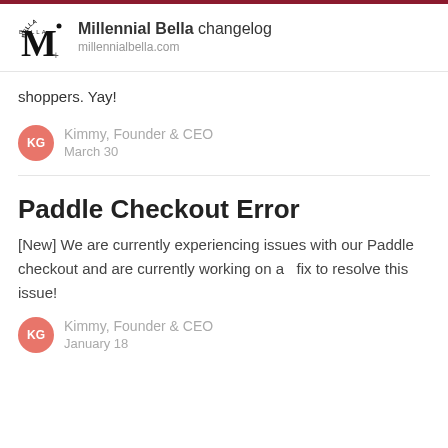Millennial Bella changelog — millennialbella.com
shoppers. Yay!
Kimmy, Founder & CEO
March 30
Paddle Checkout Error
[New] We are currently experiencing issues with our Paddle checkout and are currently working on a   fix to resolve this issue!
Kimmy, Founder & CEO
January 18